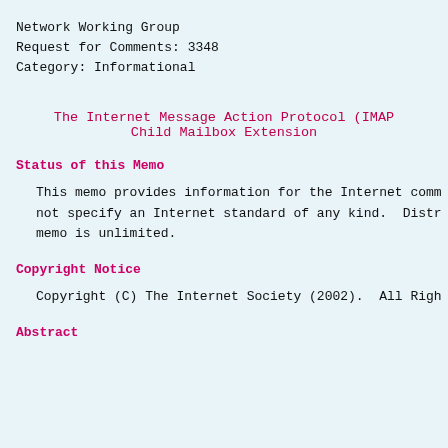Network Working Group
Request for Comments: 3348
Category: Informational
The Internet Message Action Protocol (IMAP) Child Mailbox Extension
Status of this Memo
This memo provides information for the Internet community. It does not specify an Internet standard of any kind. Distribution of this memo is unlimited.
Copyright Notice
Copyright (C) The Internet Society (2002). All Rights Reserved.
Abstract